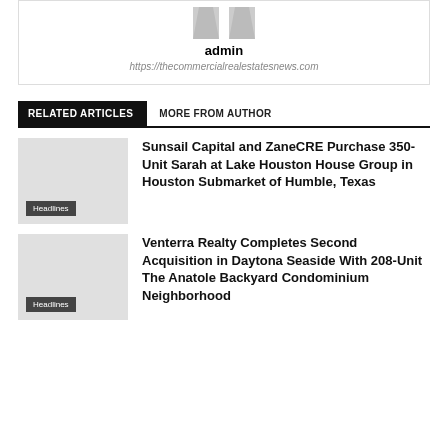[Figure (photo): Author avatar placeholder with two silhouette icons]
admin
https://thecommercialrealestatesnews.com
RELATED ARTICLES
MORE FROM AUTHOR
Sunsail Capital and ZaneCRE Purchase 350-Unit Sarah at Lake Houston House Group in Houston Submarket of Humble, Texas
Venterra Realty Completes Second Acquisition in Daytona Seaside With 208-Unit The Anatole Backyard Condominium Neighborhood